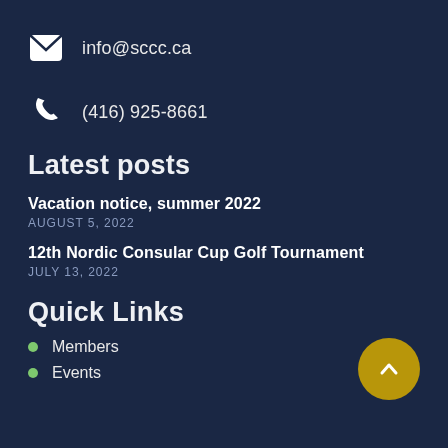info@sccc.ca
(416) 925-8661
Latest posts
Vacation notice, summer 2022
AUGUST 5, 2022
12th Nordic Consular Cup Golf Tournament
JULY 13, 2022
Quick Links
Members
Events